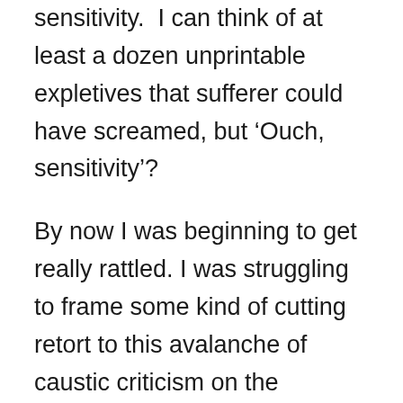sensitivity. I can think of at least a dozen unprintable expletives that sufferer could have screamed, but 'Ouch, sensitivity'?
By now I was beginning to get really rattled. I was struggling to frame some kind of cutting retort to this avalanche of caustic criticism on the condition of my teeth and gums but Dr. Gupta had struck a rich vein of form and there was no stopping his flow. Not to forget that I was helplessly strapped to this luxury, swivel